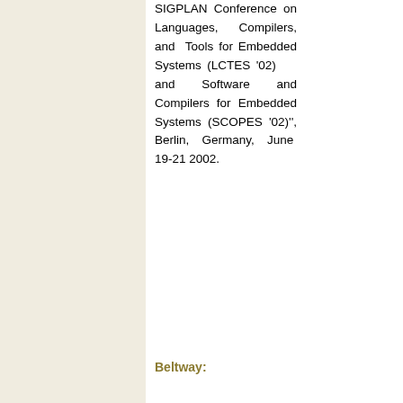ACM SIGPLAN Conference on Languages, Compilers, and Tools for Embedded Systems (LCTES '02) and Software and Compilers for Embedded Systems (SCOPES '02)'', Berlin, Germany, June 19-21 2002.
Beltway: